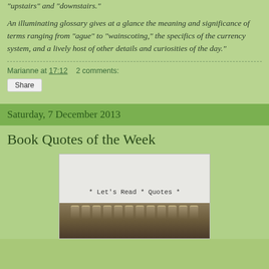"upstairs" and "downstairs."
An illuminating glossary gives at a glance the meaning and significance of terms ranging from "ague" to "wainscoting," the specifics of the currency system, and a lively host of other details and curiosities of the day."
Marianne at 17:12    2 comments:
Share
Saturday, 7 December 2013
Book Quotes of the Week
[Figure (photo): A photo showing typewriter keys with text '* Let's Read * Quotes *' visible on what appears to be a typewriter or typed page, with dark typewriter keys visible at the bottom.]